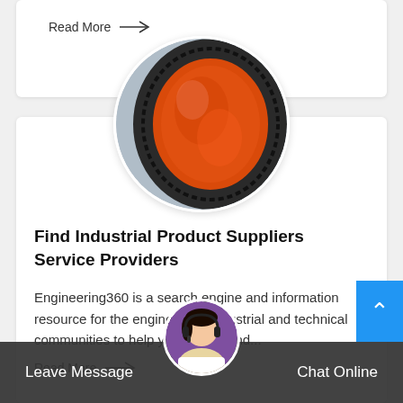Read More →
[Figure (photo): Circular cropped photo of an orange industrial mill or drum with black gear teeth around the circumference, metal industrial equipment]
Find Industrial Product Suppliers Service Providers
Engineering360 is a search engine and information resource for the engineering, industrial and technical communities to help you quickly find...
Read More →
Leave Message
[Figure (photo): Customer service agent avatar — woman wearing headset, circular cropped photo]
Chat Online